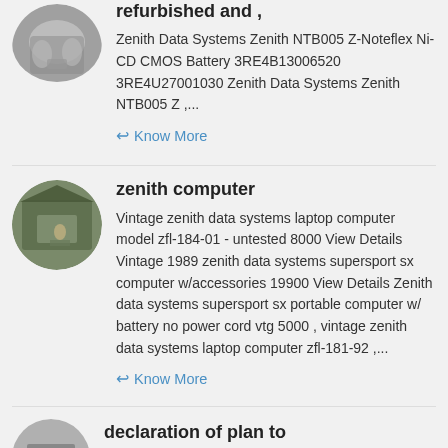Zenith Data Systems Zenith NTB005 Z-Noteflex Ni-CD CMOS Battery 3RE4B13006520 3RE4U27001030 Zenith Data Systems Zenith NTB005 Z ,...
Know More
zenith computer
Vintage zenith data systems laptop computer model zfl-184-01 - untested 8000 View Details Vintage 1989 zenith data systems supersport sx computer w/accessories 19900 View Details Zenith data systems supersport sx portable computer w/ battery no power cord vtg 5000 , vintage zenith data systems laptop computer zfl-181-92 ,...
Know More
declaration of plan to